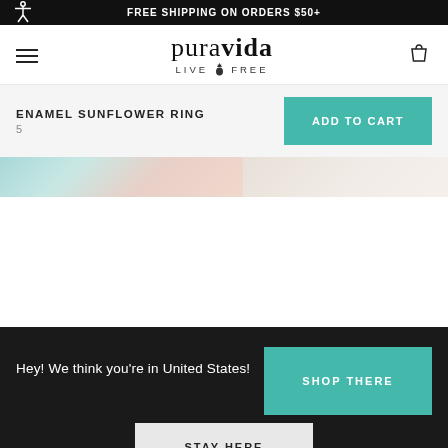FREE SHIPPING ON ORDERS $50+
puravida LIVE FREE
ENAMEL SUNFLOWER RING
5
ADD TO CART
[Figure (photo): Partial product image showing two sections — left side with teal/blue-green tones and right side with neutral/cream tones, likely hands wearing the ring]
Hey! We think you're in United States!
SHOP THERE
STAY HERE